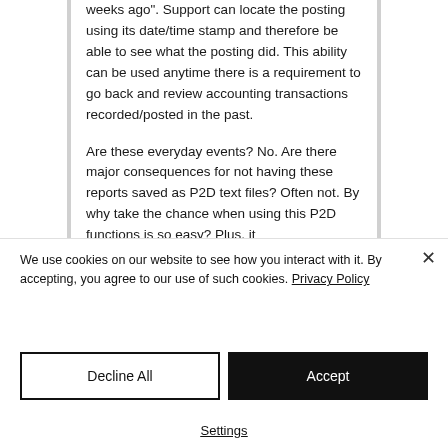weeks ago". Support can locate the posting using its date/time stamp and therefore be able to see what the posting did. This ability can be used anytime there is a requirement to go back and review accounting transactions recorded/posted in the past.
Are these everyday events? No. Are there major consequences for not having these reports saved as P2D text files? Often not. By why take the chance when using this P2D functions is so easy? Plus, it
We use cookies on our website to see how you interact with it. By accepting, you agree to our use of such cookies. Privacy Policy
Decline All
Accept
Settings